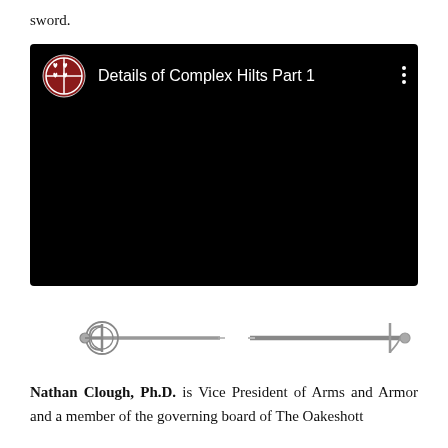sword.
[Figure (screenshot): Embedded video player with black background showing title 'Details of Complex Hilts Part 1' with a red circular channel logo on left and three-dot menu on right]
[Figure (illustration): Two decorative sword illustrations side by side as a divider — a rapier on the left and a simpler sword on the right]
Nathan Clough, Ph.D. is Vice President of Arms and Armor and a member of the governing board of The Oakeshott